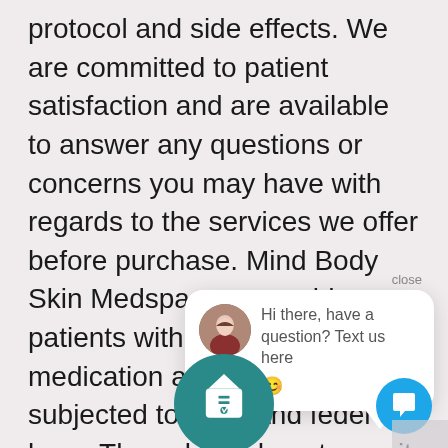protocol and side effects. We are committed to patient satisfaction and are available to answer any questions or concerns you may have with regards to the services we offer before purchase. Mind Body Skin Medspa may provide patients with prescription medication and if so are subjected to state and federal laws. Those laws do not permit us to restock prescription medication for a refund.
close
[Figure (screenshot): Chat popup bubble with avatar photo of a woman and text: Hi there, have a question? Text us here, with a smiley face emoji]
[Figure (illustration): Teal circle icon with a medical bag or award symbol, partially visible at the bottom of the page]
[Figure (illustration): Blue circular chat button in the bottom right corner with a speech bubble icon]